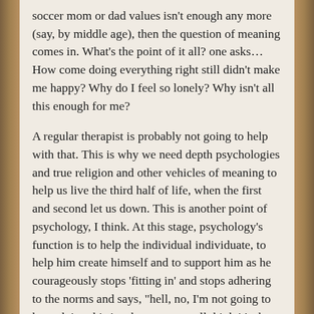soccer mom or dad values isn't enough any more (say, by middle age), then the question of meaning comes in. What's the point of it all? one asks… How come doing everything right still didn't make me happy? Why do I feel so lonely? Why isn't all this enough for me?

A regular therapist is probably not going to help with that. This is why we need depth psychologies and true religion and other vehicles of meaning to help us live the third half of life, when the first and second let us down. This is another point of psychology, I think. At this stage, psychology's function is to help the individual individuate, to help him create himself and to support him as he courageously stops 'fitting in' and stops adhering to the norms and says, "hell, no, I'm not going to keep doing this just because you all think it's the thing to do or the way to do it; I have a different and higher value now, and here it is."